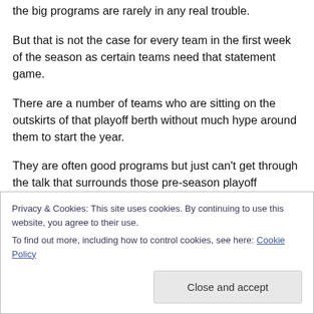the big programs are rarely in any real trouble.
But that is not the case for every team in the first week of the season as certain teams need that statement game.
There are a number of teams who are sitting on the outskirts of that playoff berth without much hype around them to start the year.
They are often good programs but just can't get through the talk that surrounds those pre-season playoff favourites.
With most of those top teams taking on lesser opponents
Privacy & Cookies: This site uses cookies. By continuing to use this website, you agree to their use.
To find out more, including how to control cookies, see here: Cookie Policy
Close and accept